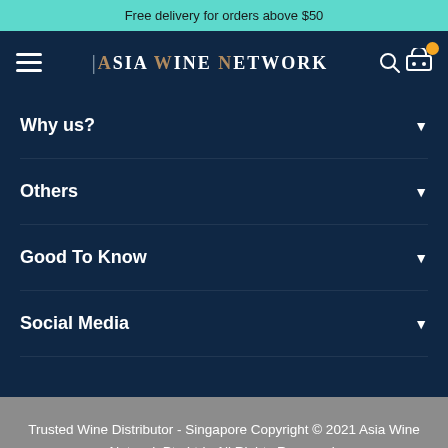Free delivery for orders above $50
[Figure (logo): Asia Wine Network logo with hamburger menu, search icon, and cart icon on dark navy background]
Why us?
Others
Good To Know
Social Media
Trusted Wine Distributor - Singapore Copyright © 2021 Asia Wine Network Pte.Ltd . All Rights Reserved.